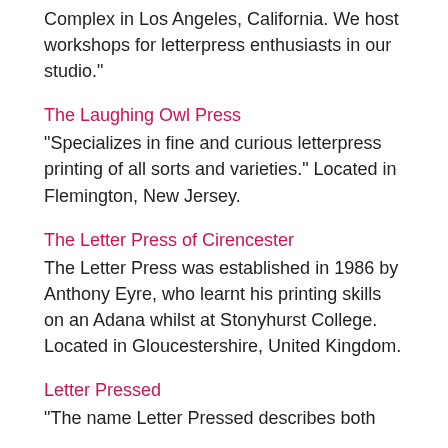Complex in Los Angeles, California. We host workshops for letterpress enthusiasts in our studio."
The Laughing Owl Press
"Specializes in fine and curious letterpress printing of all sorts and varieties." Located in Flemington, New Jersey.
The Letter Press of Cirencester
The Letter Press was established in 1986 by Anthony Eyre, who learnt his printing skills on an Adana whilst at Stonyhurst College. Located in Gloucestershire, United Kingdom.
Letter Pressed
"The name Letter Pressed describes both